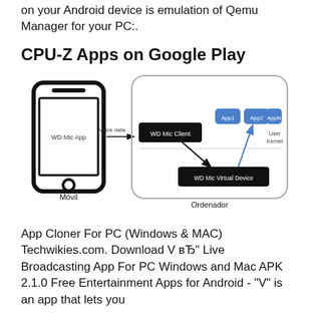on your Android device is emulation of Qemu Manager for your PC:.
CPU-Z Apps on Google Play
[Figure (schematic): Diagram showing WD Mic App on a mobile phone (Móvil) sending Voice data to a PC (Ordenador) system. The PC box contains WD Mic Client connected to App1, App2, .. AppN (User/Kernel layer) and a WD Mic Virtual Device below, with arrows showing data flow.]
App Cloner For PC (Windows & MAC) Techwikies.com. Download V вЂ" Live Broadcasting App For PC Windows and Mac APK 2.1.0 Free Entertainment Apps for Android - "V" is an app that lets you